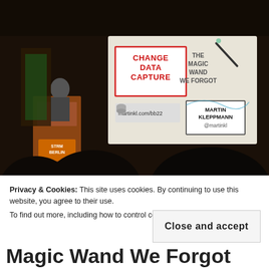[Figure (photo): A dark conference room photo showing a speaker at a podium on the left, with a projection screen on the right displaying a slide titled 'Change Data Capture: The Magic Wand We Forgot' by Martin Kleppmann (@martinkl), with URL martinkl.com/bb22. Silhouettes of audience members visible in the foreground.]
Privacy & Cookies: This site uses cookies. By continuing to use this website, you agree to their use.
To find out more, including how to control cookies, see here: Cookie Policy
Close and accept
Magic Wand We Forgot